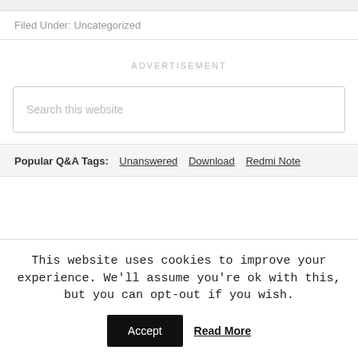Filed Under: Uncategorized
ADVERTISEMENT
Search this website
Popular Q&A Tags: Unanswered Download Redmi Note
This website uses cookies to improve your experience. We'll assume you're ok with this, but you can opt-out if you wish.
Accept  Read More